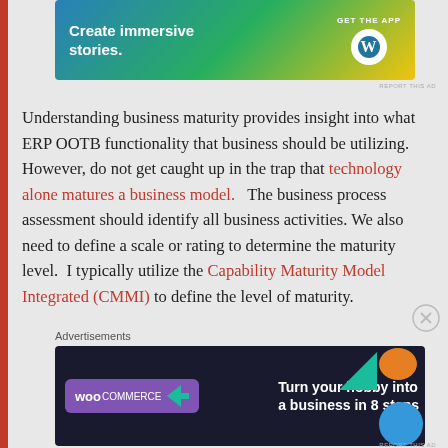[Figure (other): Top advertisement banner with gradient background (blue to green to yellow) showing 'Create immersive stories.' text with GET THE APP and WordPress logo]
Understanding business maturity provides insight into what ERP OOTB functionality that business should be utilizing.  However, do not get caught up in the trap that technology alone matures a business model.   The business process assessment should identify all business activities.  We also need to define a scale or rating to determine the maturity level.  I typically utilize the Capability Maturity Model Integrated (CMMI) to define the level of maturity.
[Figure (other): Bottom advertisement banner for WooCommerce: dark background with WooCommerce logo and text 'Turn your hobby into a business in 8 steps' with colorful geometric decorations]